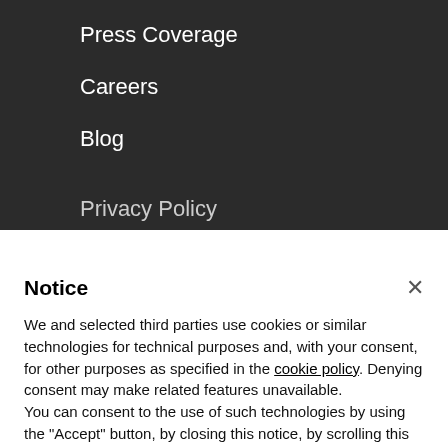Press Coverage
Careers
Blog
Privacy Policy
Notice
We and selected third parties use cookies or similar technologies for technical purposes and, with your consent, for other purposes as specified in the cookie policy. Denying consent may make related features unavailable.
You can consent to the use of such technologies by using the “Accept” button, by closing this notice, by scrolling this page, by interacting with any link or button outside of this notice or by continuing to browse otherwise.
Accept
Learn more and customize